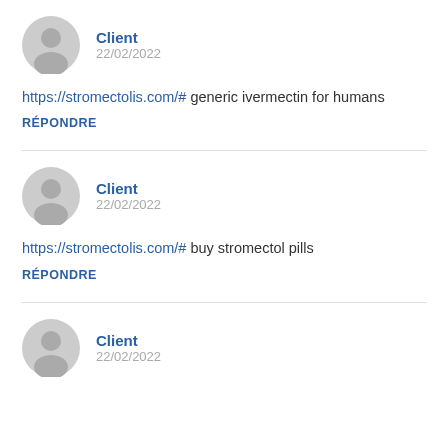[Figure (illustration): Gray avatar icon circle for first comment]
Client
22/02/2022
https://stromectolis.com/# generic ivermectin for humans
RÉPONDRE
[Figure (illustration): Gray avatar icon circle for second comment]
Client
22/02/2022
https://stromectolis.com/# buy stromectol pills
RÉPONDRE
[Figure (illustration): Gray avatar icon circle for third comment (partially visible)]
Client